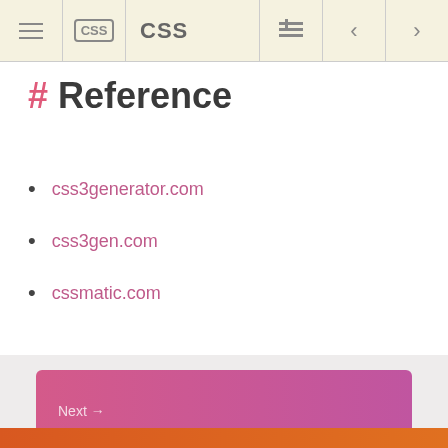CSS
# Reference
css3generator.com
css3gen.com
cssmatic.com
Next → 2.13 CSS3 Gradient